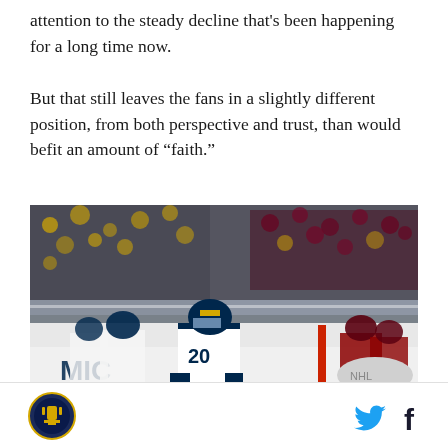attention to the steady decline that's been happening for a long time now.

But that still leaves the fans in a slightly different position, from both perspective and trust, than would befit an amount of “faith.”
[Figure (photo): A Michigan Wolverines hockey player wearing jersey number 20 in white uniform with navy and gold details, standing on the ice at an arena. Fans and other players visible in the background including opposing team in dark maroon jerseys.]
[Figure (logo): Circular sports website logo with gold/navy coloring]
[Figure (other): Twitter bird icon in cyan blue and Facebook 'f' icon in dark navy]